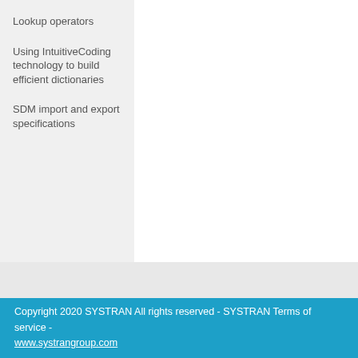Lookup operators
Using IntuitiveCoding technology to build efficient dictionaries
SDM import and export specifications
Copyright 2020 SYSTRAN All rights reserved - SYSTRAN Terms of service - www.systrangroup.com